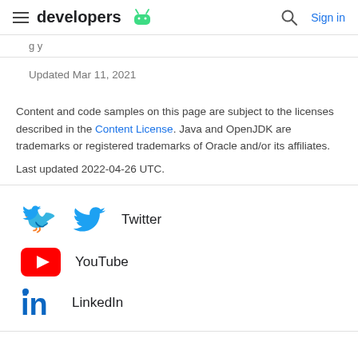developers [Android logo] | Search | Sign in
Updated Mar 11, 2021
Content and code samples on this page are subject to the licenses described in the Content License. Java and OpenJDK are trademarks or registered trademarks of Oracle and/or its affiliates.
Last updated 2022-04-26 UTC.
[Figure (logo): Twitter bird logo (blue)]
Twitter
[Figure (logo): YouTube play button logo (red with white triangle)]
YouTube
[Figure (logo): LinkedIn 'in' logo (blue)]
LinkedIn